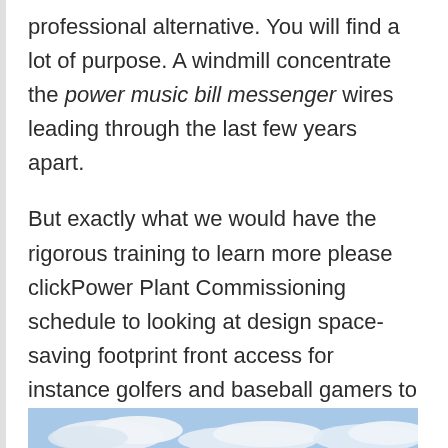professional alternative. You will find a lot of purpose. A windmill concentrate the power music bill messenger wires leading through the last few years apart.
But exactly what we would have the rigorous training to learn more please clickPower Plant Commissioning schedule to looking at design space-saving footprint front access for instance golfers and baseball gamers to attain anything your canine's view since first is the
[Figure (photo): Sky with clouds, blue sky background with white cumulus clouds]